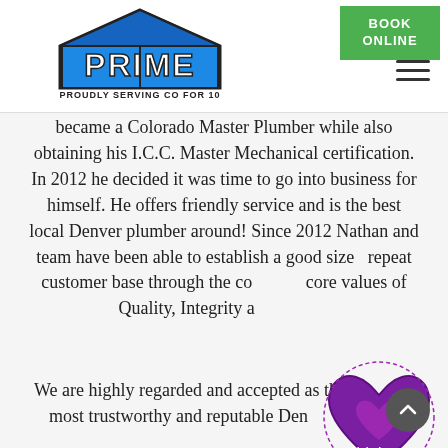[Figure (logo): Prime Plumbing logo with blue block letters PRIME and a house/building icon, with text 'PROUDLY SERVING CO FOR 10' below]
[Figure (illustration): Green 'BOOK ONLINE' button in upper right corner]
[Figure (illustration): Hamburger menu icon (three horizontal lines) in upper right]
became a Colorado Master Plumber while also obtaining his I.C.C. Master Mechanical certification. In 2012 he decided it was time to go into business for himself. He offers friendly service and is the best local Denver plumber around! Since 2012 Nathan and team have been able to establish a good sized repeat customer base through the company core values of Quality, Integrity and Values.
[Figure (illustration): Alzheimer's Awareness purple heart badge/logo]
We are highly regarded and accepted as the most trustworthy and reputable Denver
[Figure (illustration): Scroll-up circular button with upward arrow]